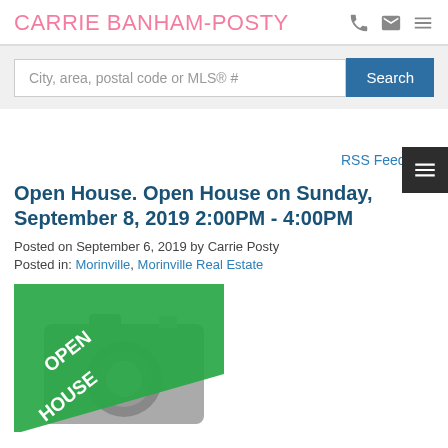CARRIE BANHAM-POSTY
City, area, postal code or MLS® #
Search
RSS Feed
Open House. Open House on Sunday, September 8, 2019 2:00PM - 4:00PM
Posted on September 6, 2019 by Carrie Posty
Posted in: Morinville, Morinville Real Estate
[Figure (photo): Open House badge overlay on a grey camera placeholder image]